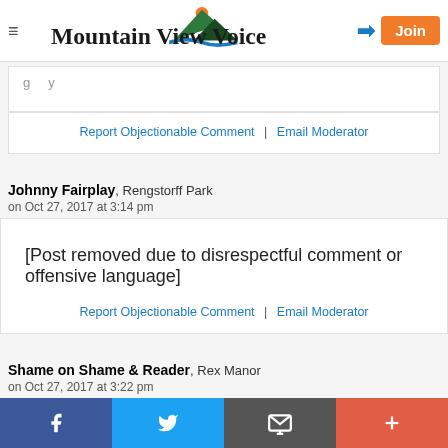Mountain View Voice
[partial top comment - truncated]
Report Objectionable Comment | Email Moderator
Johnny Fairplay, Rengstorff Park
on Oct 27, 2017 at 3:14 pm
[Post removed due to disrespectful comment or offensive language]
Report Objectionable Comment | Email Moderator
Shame on Shame & Reader, Rex Manor
on Oct 27, 2017 at 3:22 pm
Facebook | Twitter | Email | More